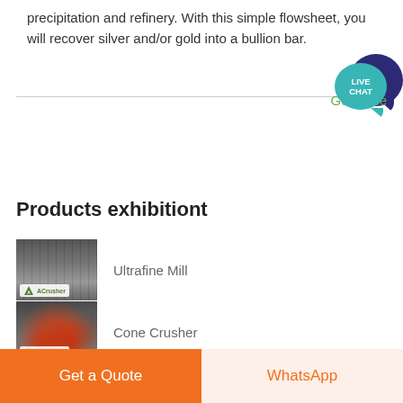precipitation and refinery. With this simple flowsheet, you will recover silver and/or gold into a bullion bar.
[Figure (other): Live Chat speech bubble widget with teal and dark navy colors, labeled LIVE CHAT]
Get Price
Products exhibitiont
[Figure (photo): Ultrafine Mill industrial equipment photo with ACrusher logo badge]
Ultrafine Mill
[Figure (photo): Cone Crusher industrial equipment photo with red/grey machine and ACrusher logo badge]
Cone Crusher